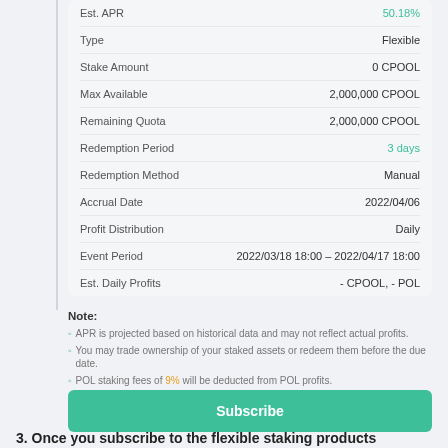| Field | Value |
| --- | --- |
| Est. APR | 50.18% |
| Type | Flexible |
| Stake Amount | 0 CPOOL |
| Max Available | 2,000,000 CPOOL |
| Remaining Quota | 2,000,000 CPOOL |
| Redemption Period | 3 days |
| Redemption Method | Manual |
| Accrual Date | 2022/04/06 |
| Profit Distribution | Daily |
| Event Period | 2022/03/18 18:00 – 2022/04/17 18:00 |
| Est. Daily Profits | - CPOOL, - POL |
Note:
APR is projected based on historical data and may not reflect actual profits.
You may trade ownership of your staked assets or redeem them before the due date.
POL staking fees of 9% will be deducted from POL profits.
I have read and agree to the Cryptocurrency Mining Agreement
Subscribe
3. Once you subscribe to the flexible staking products